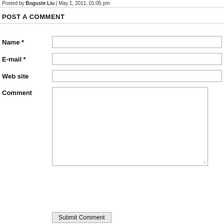Posted by Boguste Liu | May 1, 2011, 01:05 pm
POST A COMMENT
Name *
E-mail *
Web site
Comment
Submit Comment